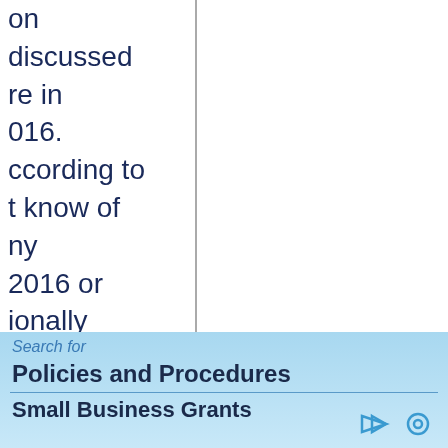on discussed re in 016. ccording to t know of ny 2016 or ionally e nature of g like that," perjury 't know ne Clinton the maintained own ounsel for a
Search for
Policies and Procedures
Small Business Grants